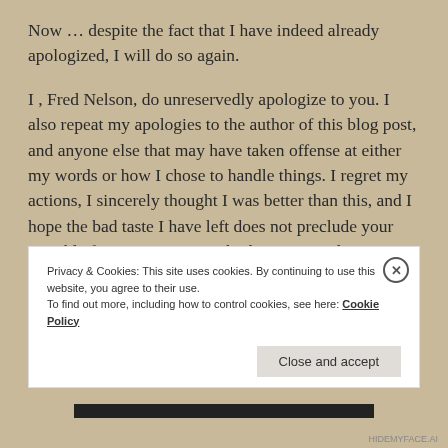Now … despite the fact that I have indeed already apologized, I will do so again.
I , Fred Nelson, do unreservedly apologize to you. I also repeat my apologies to the author of this blog post, and anyone else that may have taken offense at either my words or how I chose to handle things. I regret my actions, I sincerely thought I was better than this, and I hope the bad taste I have left does not preclude your possible furute patronage at both MDRF and VARF.
Privacy & Cookies: This site uses cookies. By continuing to use this website, you agree to their use.
To find out more, including how to control cookies, see here: Cookie Policy
Close and accept